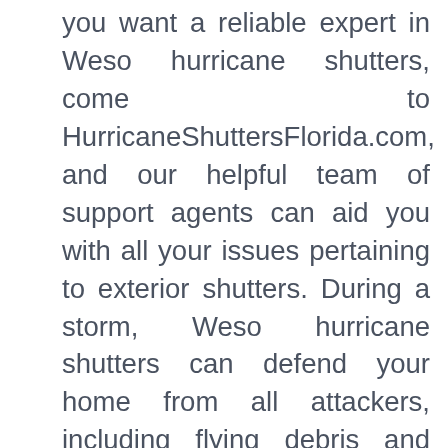you want a reliable expert in Weso hurricane shutters, come to HurricaneShuttersFlorida.com, and our helpful team of support agents can aid you with all your issues pertaining to exterior shutters. During a storm, Weso hurricane shutters can defend your home from all attackers, including flying debris and even looters, and you can trust Weso hurricane shutters for all the hurricane protection you need. If you want to know exactly how much your Weso hurricane shutters for your home will cost, all you need is the measurements of your home's openings, then pick your style of shutters and our pricing page will advise the price. For all budgets, we have a large variety of permanent or removable exterior